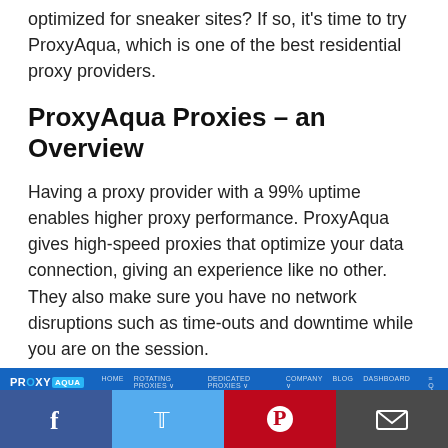optimized for sneaker sites? If so, it's time to try ProxyAqua, which is one of the best residential proxy providers.
ProxyAqua Proxies – an Overview
Having a proxy provider with a 99% uptime enables higher proxy performance. ProxyAqua gives high-speed proxies that optimize your data connection, giving an experience like no other. They also make sure you have no network disruptions such as time-outs and downtime while you are on the session.
[Figure (screenshot): Screenshot of the ProxyAqua website showing the navigation bar with logo, menu items (Home, Rotating Proxies, Dedicated Proxies, Company, Blog, Dashboard), and a blue gradient hero background.]
[Figure (infographic): Social sharing bar at the bottom with four buttons: Facebook (dark blue), Twitter (light blue), Pinterest (red), and Email (dark grey).]